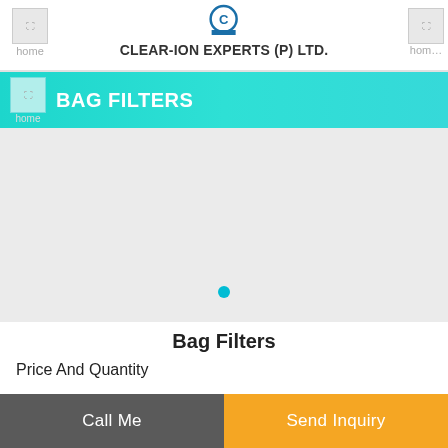CLEAR-ION EXPERTS (P) LTD.
BAG FILTERS
[Figure (photo): Large light gray content area with a product image placeholder for Bag Filters, with a teal dot indicator below the image area.]
Bag Filters
Price And Quantity
Call Me
Send Inquiry